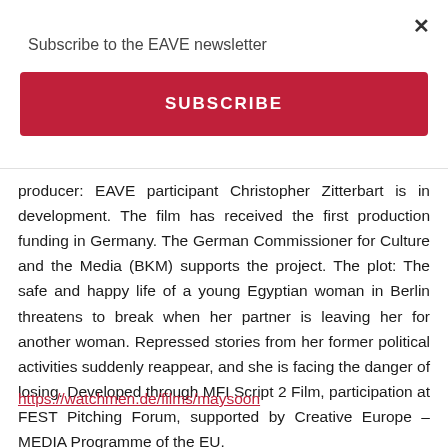Subscribe to the EAVE newsletter
SUBSCRIBE
producer: EAVE participant Christopher Zitterbart is in development. The film has received the first production funding in Germany. The German Commissioner for Culture and the Media (BKM) supports the project. The plot: The safe and happy life of a young Egyptian woman in Berlin threatens to break when her partner is leaving her for another woman. Repressed stories from her former political activities suddenly reappear, and she is facing the danger of losing. Developed through MFI Script 2 Film, participation at FEST Pitching Forum, supported by Creative Europe – MEDIA Programme of the EU.
https://watchmen.de/films/maysoon